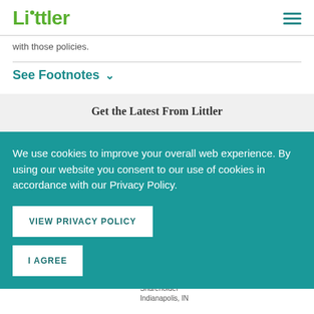Littler
with those policies.
See Footnotes
Get the Latest From Littler
We use cookies to improve your overall web experience. By using our website you consent to our use of cookies in accordance with our Privacy Policy.
VIEW PRIVACY POLICY
I AGREE